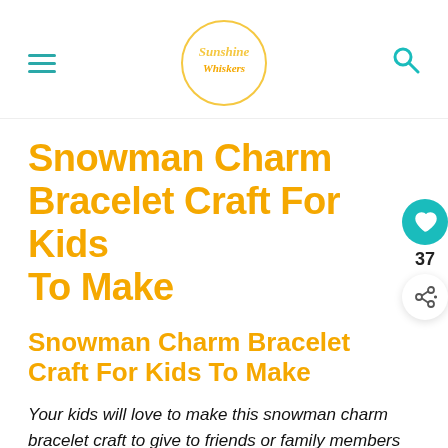Sunshine Whiskers
Snowman Charm Bracelet Craft For Kids To Make
Snowman Charm Bracelet Craft For Kids To Make
Your kids will love to make this snowman charm bracelet craft to give to friends or family members